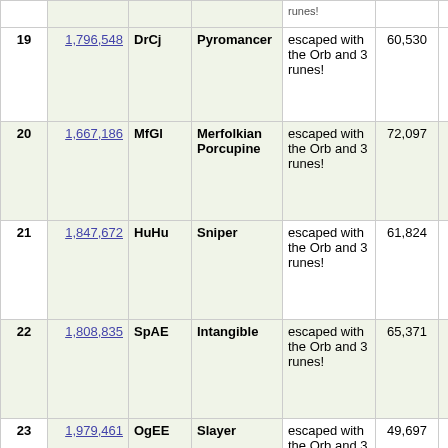| # | Score | Name | Title | Result | Turns | Duration | God |
| --- | --- | --- | --- | --- | --- | --- | --- |
| 19 | 1,796,548 | DrCj | Pyromancer | escaped with the Orb and 3 runes! | 60,530 | 04:05:42 | Ve... |
| 20 | 1,667,186 | MfGl | Merfolkian Porcupine | escaped with the Orb and 3 runes! | 72,097 | 04:27:09 | Go... |
| 21 | 1,847,672 | HuHu | Sniper | escaped with the Orb and 3 runes! | 61,824 | 03:54:51 | Ok... |
| 22 | 1,808,835 | SpAE | Intangible | escaped with the Orb and 3 runes! | 65,371 | 03:32:18 | Ely... |
| 23 | 1,979,461 | OgEE | Slayer | escaped with the Orb and 3 runes! | 49,697 | 02:39:44 | Ch... |
| 24 | 2,030,500 | DFi... | Eruption... | escaped... | 49,284 | 03:47:54 | Fl... |